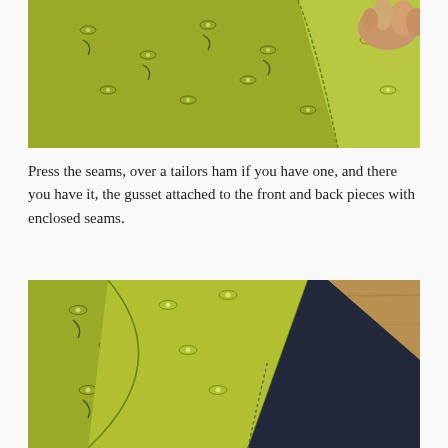[Figure (photo): Close-up photo of green patterned fabric (with small eye/cat face prints) being held and folded, showing the gusset seam construction.]
Press the seams, over a tailors ham if you have one, and there you have it, the gusset attached to the front and back pieces with enclosed seams.
[Figure (photo): Close-up photo of green patterned fabric folded open on a wooden surface, showing the enclosed seam joining green fabric to dark navy fabric, revealing the seam detail.]